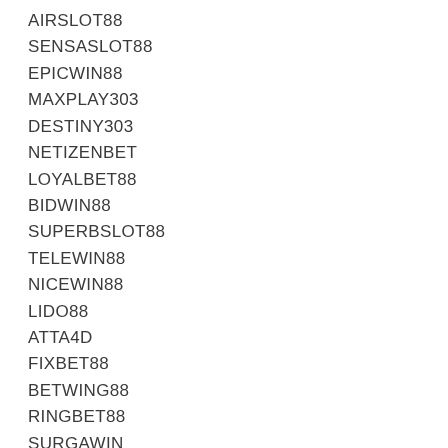AIRSLOT88
SENSASLOT88
EPICWIN88
MAXPLAY303
DESTINY303
NETIZENBET
LOYALBET88
BIDWIN88
SUPERBSLOT88
TELEWIN88
NICEWIN88
LIDO88
ATTA4D
FIXBET88
BETWING88
RINGBET88
SURGAWIN
SLOTUP88
SINS88
PLAYKING88
NEWPLAY88
TOTODRAW4D
GRABWIN
FASTWIN77
COLOWIN